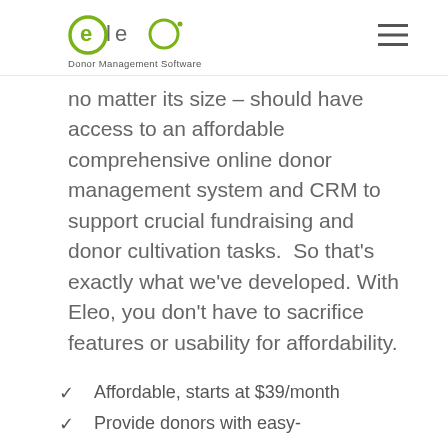eleo Donor Management Software
no matter its size – should have access to an affordable comprehensive online donor management system and CRM to support crucial fundraising and donor cultivation tasks.  So that's exactly what we've developed. With Eleo, you don't have to sacrifice features or usability for affordability.
Affordable, starts at $39/month
Provide donors with easy-